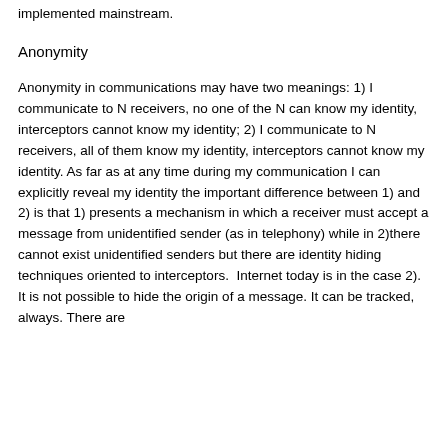implemented mainstream.
Anonymity
Anonymity in communications may have two meanings: 1) I communicate to N receivers, no one of the N can know my identity, interceptors cannot know my identity; 2) I communicate to N receivers, all of them know my identity, interceptors cannot know my identity. As far as at any time during my communication I can explicitly reveal my identity the important difference between 1) and 2) is that 1) presents a mechanism in which a receiver must accept a message from unidentified sender (as in telephony) while in 2)there cannot exist unidentified senders but there are identity hiding techniques oriented to interceptors.  Internet today is in the case 2). It is not possible to hide the origin of a message. It can be tracked, always. There are